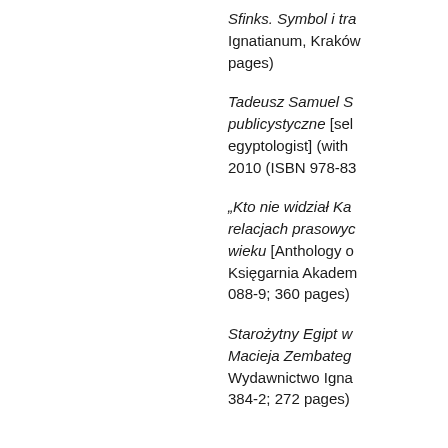Sfinks. Symbol i tra… Ignatianum, Kraków… pages)
Tadeusz Samuel S… publicystyczne [sel… egyptologist] (with … 2010 (ISBN 978-83…
„Kto nie widział Ka… relacjach prasowyc… wieku [Anthology o… Księgarnia Akadem… 088-9; 360 pages)
Starożytny Egipt w… Macieja Zembateg… Wydawnictwo Igna… 384-2; 272 pages)